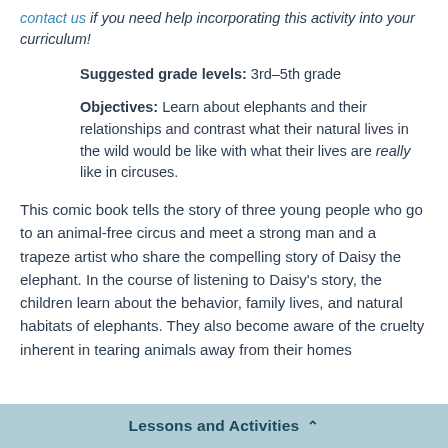contact us if you need help incorporating this activity into your curriculum!
Suggested grade levels: 3rd–5th grade
Objectives: Learn about elephants and their relationships and contrast what their natural lives in the wild would be like with what their lives are really like in circuses.
This comic book tells the story of three young people who go to an animal-free circus and meet a strong man and a trapeze artist who share the compelling story of Daisy the elephant. In the course of listening to Daisy's story, the children learn about the behavior, family lives, and natural habitats of elephants. They also become aware of the cruelty inherent in tearing animals away from their homes
Lessons and Activities